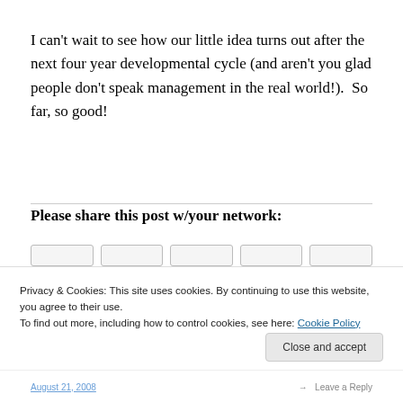I can't wait to see how our little idea turns out after the next four year developmental cycle (and aren't you glad people don't speak management in the real world!).  So far, so good!
Please share this post w/your network:
Privacy & Cookies: This site uses cookies. By continuing to use this website, you agree to their use.
To find out more, including how to control cookies, see here: Cookie Policy
August 21, 2008 · Leave a Reply